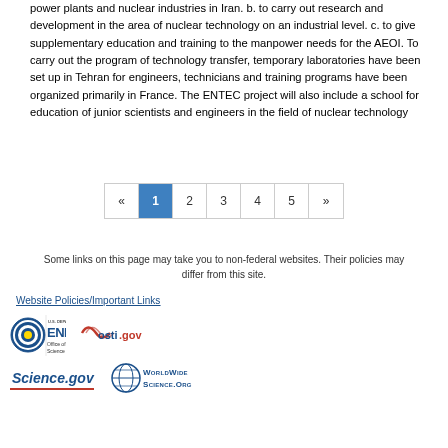power plants and nuclear industries in Iran. b. to carry out research and development in the area of nuclear technology on an industrial level. c. to give supplementary education and training to the manpower needs for the AEOI. To carry out the program of technology transfer, temporary laboratories have been set up in Tehran for engineers, technicians and training programs have been organized primarily in France. The ENTEC project will also include a school for education of junior scientists and engineers in the field of nuclear technology
« 1 2 3 4 5 »
Some links on this page may take you to non-federal websites. Their policies may differ from this site.
Website Policies/Important Links
[Figure (logo): U.S. Department of Energy Office of Science logo, osti.gov logo, Science.gov logo, WorldWideScience.org logo]